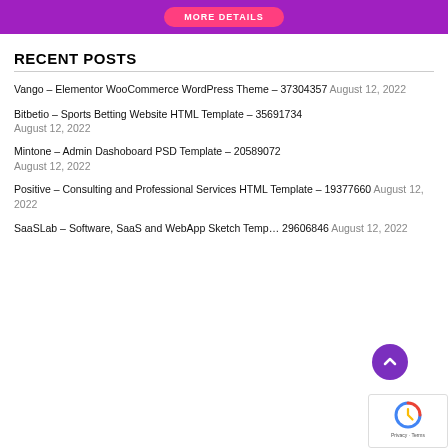[Figure (other): Purple banner with pink 'MORE DETAILS' button]
RECENT POSTS
Vango – Elementor WooCommerce WordPress Theme – 37304357 August 12, 2022
Bitbetio – Sports Betting Website HTML Template – 35691734 August 12, 2022
Mintone – Admin Dashoboard PSD Template – 20589072 August 12, 2022
Positive – Consulting and Professional Services HTML Template – 19377660 August 12, 2022
SaaSLab – Software, SaaS and WebApp Sketch Temp… 29606846 August 12, 2022